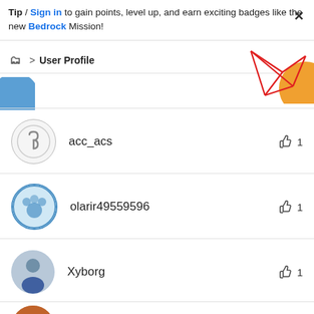Tip / Sign in to gain points, level up, and earn exciting badges like the new Bedrock Mission!
User Profile
[Figure (illustration): Decorative graphic with red geometric lines and orange circle shape in top-right corner]
acc_acs  👍 1
olarir49559596  👍 1
Xyborg  👍 1
LarsRo  👍 1